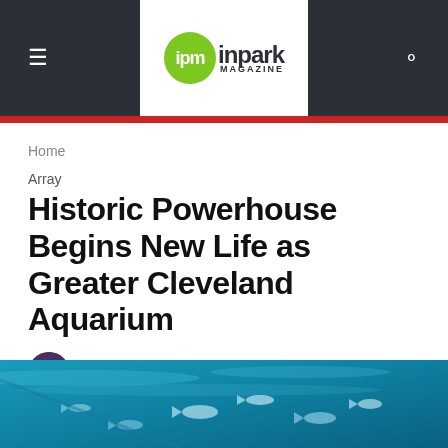ipm inpark MAGAZINE
Home
Array
Historic Powerhouse Begins New Life as Greater Cleveland Aquarium
By Joe Kleiman   January 20, 2012
Facebook   Twitter   +
[Figure (photo): Underwater aquarium scene with fish swimming in blue-green water]